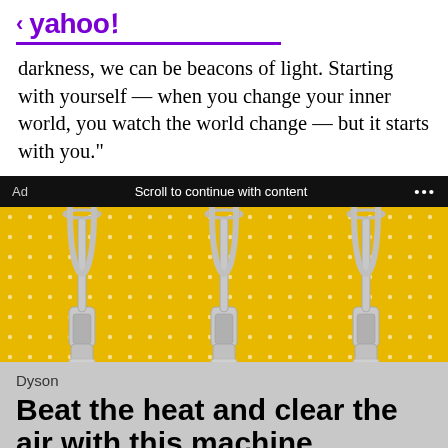< yahoo!
darkness, we can be beacons of light. Starting with yourself — when you change your inner world, you watch the world change — but it starts with you."
[Figure (screenshot): Ad bar with black background showing 'Ad' on left, 'Scroll to continue with content' in center, and '...' on right]
[Figure (photo): Advertisement image showing three Dyson bladeless fan/purifiers on a yellow polka-dot background]
Dyson
Beat the heat and clear the air with this machine